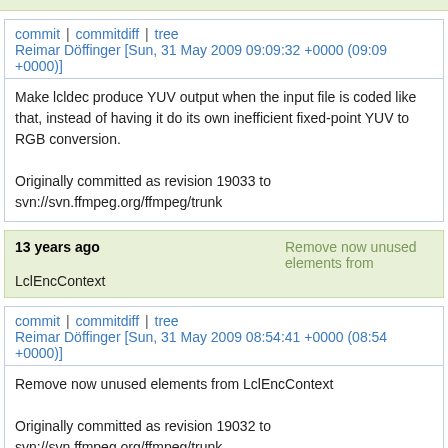commit | commitdiff | tree
Reimar Döffinger [Sun, 31 May 2009 09:09:32 +0000 (09:09 +0000)]
Make lcldec produce YUV output when the input file is coded like that, instead of having it do its own inefficient fixed-point YUV to RGB conversion.

Originally committed as revision 19033 to svn://svn.ffmpeg.org/ffmpeg/trunk
13 years ago   Remove now unused elements from LclEncContext
commit | commitdiff | tree
Reimar Döffinger [Sun, 31 May 2009 08:54:41 +0000 (08:54 +0000)]
Remove now unused elements from LclEncContext

Originally committed as revision 19032 to svn://svn.ffmpeg.org/ffmpeg/trunk
13 years ago   Remove useless casts, extradata is already "uint8_t *"